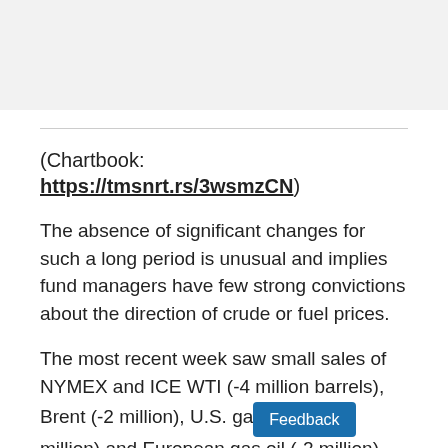(Chartbook: https://tmsnrt.rs/3wsmzCN)
The absence of significant changes for such a long period is unusual and implies fund managers have few strong convictions about the direction of crude or fuel prices.
The most recent week saw small sales of NYMEX and ICE WTI (-4 million barrels), Brent (-2 million), U.S. gas [Feedback] million) and European gas oil (-2 million)